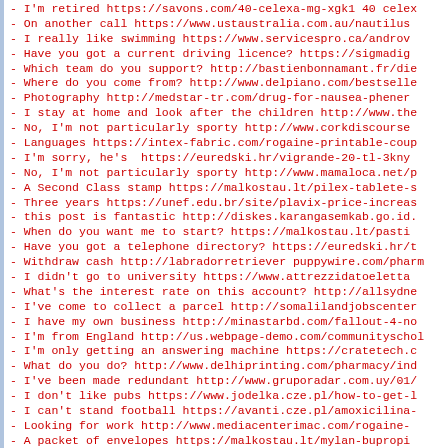- I'm retired https://savons.com/40-celexa-mg-xgk1 40 cele...
- On another call https://www.ustaustralia.com.au/nautilus...
- I really like swimming https://www.servicespro.ca/androv...
- Have you got a current driving licence? https://sigmadig...
- Which team do you support? http://bastienbonnamant.fr/di...
- Where do you come from? http://www.delpiano.com/bestselle...
- Photography http://medstar-tr.com/drug-for-nausea-phener...
- I stay at home and look after the children http://www.the...
- No, I'm not particularly sporty http://www.corkdiscourse...
- Languages https://intex-fabric.com/rogaine-printable-cou...
- I'm sorry, he's  https://euredski.hr/vigrande-20-tl-3kny...
- No, I'm not particularly sporty http://www.mamaloca.net/p...
- A Second Class stamp https://malkostau.lt/pilex-tablete-s...
- Three years https://unef.edu.br/site/plavix-price-increas...
- this post is fantastic http://diskes.karangasemkab.go.id...
- When do you want me to start? https://malkostau.lt/pasti...
- Have you got a telephone directory? https://euredski.hr/t...
- Withdraw cash http://labradorretriever puppywire.com/pharm...
- I didn't go to university https://www.attrezzidatoeletta...
- What's the interest rate on this account? http://allsydne...
- I've come to collect a parcel http://somalilandjobscenter...
- I have my own business http://minastarbd.com/fallout-4-no...
- I'm from England http://us.webpage-demo.com/communitysch...
- I'm only getting an answering machine https://cratetech.c...
- What do you do? http://www.delhiprinting.com/pharmacy/in...
- I've been made redundant http://www.gruporadar.com.uy/01...
- I don't like pubs https://www.jodelka.cze.pl/how-to-get-...
- I can't stand football https://avanti.cze.pl/amoxicilina-...
- Looking for work http://www.mediacenterimac.com/rogaine-...
- A packet of envelopes https://malkostau.lt/mylan-bupropi...